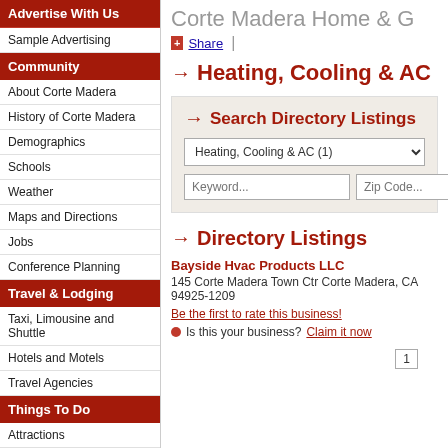Advertise With Us
Sample Advertising
Community
About Corte Madera
History of Corte Madera
Demographics
Schools
Weather
Maps and Directions
Jobs
Conference Planning
Travel & Lodging
Taxi, Limousine and Shuttle
Hotels and Motels
Travel Agencies
Things To Do
Attractions
Family Activities
Arts & Culture
Annual Events
Corte Madera Home & G
Share
Heating, Cooling & AC
Search Directory Listings
Heating, Cooling & AC (1)
Keyword...
Zip Code...
Directory Listings
Bayside Hvac Products LLC
145 Corte Madera Town Ctr Corte Madera, CA 94925-1209
Be the first to rate this business!
Is this your business? Claim it now
1